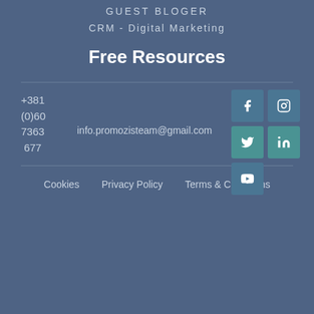GUEST BLOGER
CRM - Digital Marketing
Free Resources
+381
(0)60
7363
677
info.promozisteam@gmail.com
[Figure (other): Social media icons: Facebook, Instagram, Twitter, LinkedIn, YouTube]
Cookies   Privacy Policy   Terms & Conditions